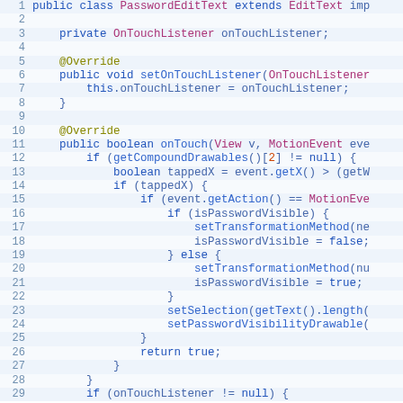[Figure (screenshot): Java code screenshot showing PasswordEditText class with onTouchListener implementation, lines 1-29]